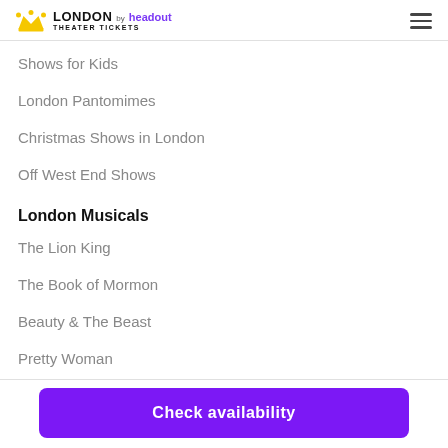LONDON by headout THEATER TICKETS
Shows for Kids
London Pantomimes
Christmas Shows in London
Off West End Shows
London Musicals
The Lion King
The Book of Mormon
Beauty & The Beast
Pretty Woman
Check availability